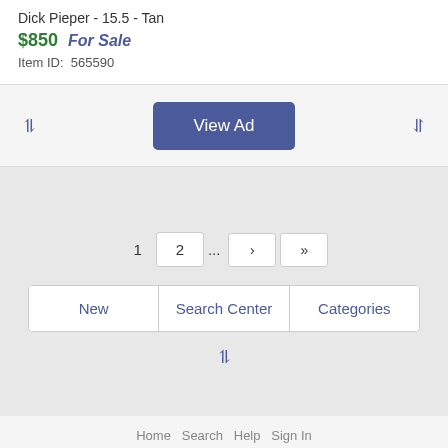Dick Pieper - 15.5 - Tan
$850   For Sale
Item ID:  565590
[Figure (screenshot): View Ad button with up and down chevron arrows]
1  2  ...  >  »
New   Search Center   Categories
Advertisements
Home   Search   Help   Sign In